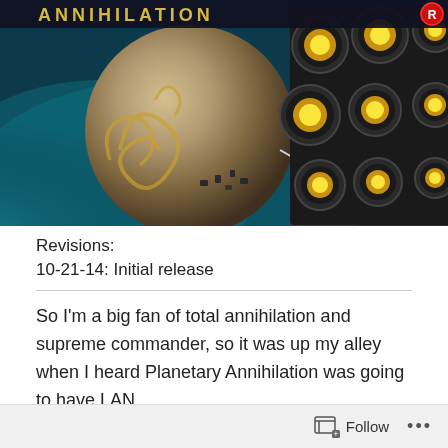[Figure (illustration): Game cover art / screenshot for Planetary Annihilation showing a large spherical planet with golden engine cluster attached, set against a teal space background. A logo banner reading 'ANNIHILATOR' appears at the top with decorative gold swirls on the planet surface.]
Revisions:
10-21-14: Initial release
So I'm a big fan of total annihilation and supreme commander, so it was up my alley when I heard Planetary Annihilation was going to have LAN
Follow ...